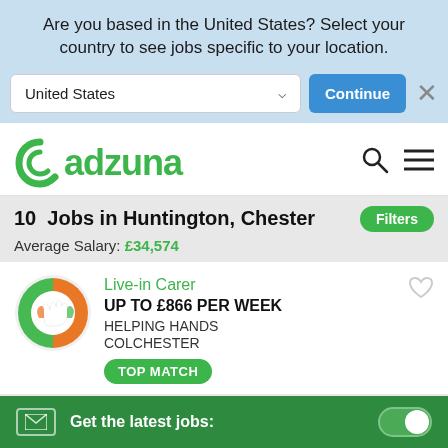Are you based in the United States? Select your country to see jobs specific to your location.
[Figure (screenshot): Country selector dropdown showing 'United States' with Continue button and close X]
[Figure (logo): Adzuna logo in green with search and menu icons]
10 Jobs in Huntington, Chester
Average Salary: £34,574
Live-in Carer
UP TO £866 PER WEEK
HELPING HANDS
COLCHESTER
TOP MATCH
Nurse Manager
Get the latest jobs: